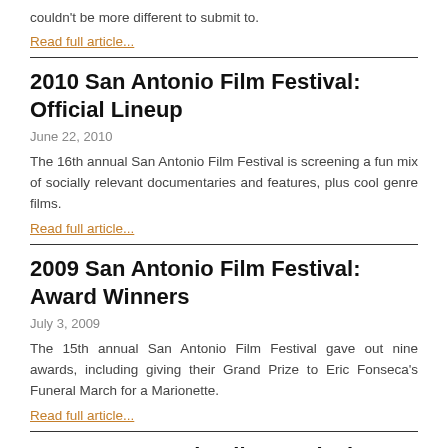couldn't be more different to submit to.
Read full article...
2010 San Antonio Film Festival: Official Lineup
June 22, 2010
The 16th annual San Antonio Film Festival is screening a fun mix of socially relevant documentaries and features, plus cool genre films.
Read full article...
2009 San Antonio Film Festival: Award Winners
July 3, 2009
The 15th annual San Antonio Film Festival gave out nine awards, including giving their Grand Prize to Eric Fonseca's Funeral March for a Marionette.
Read full article...
2009 San Antonio Film Festival: Official